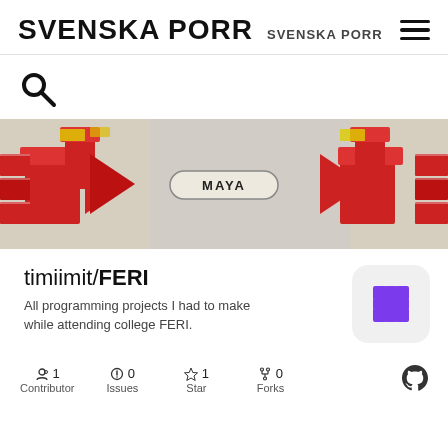SVENSKA PORR  SVENSKA PORR
[Figure (screenshot): Search icon (magnifying glass)]
[Figure (photo): Banner image with red 3D cross/plus shapes, black and white figure, and MAYA label in center]
timiimit/FERI
All programming projects I had to make while attending college FERI.
[Figure (logo): Purple plus/cross icon on light gray rounded square background]
1 Contributor  0 Issues  1 Star  0 Forks